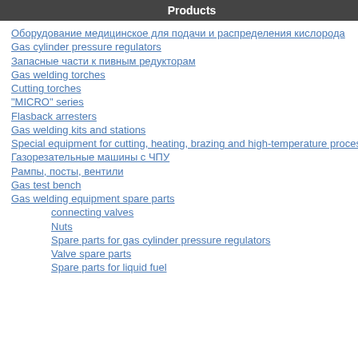Products
Оборудование медицинское для подачи и распределения кислорода
Gas cylinder pressure regulators
Запасные части к пивным редукторам
Gas welding torches
Cutting torches
"MICRO" series
Flasback arresters
Gas welding kits and stations
Special equipment for cutting, heating, brazing and high-temperature processing
Газорезательные машины с ЧПУ
Рампы, посты, вентили
Gas test bench
Gas welding equipment spare parts
connecting valves
Nuts
Spare parts for gas cylinder pressure regulators
Valve spare parts
Spare parts for liquid fuel
Full-Size Image
Quantity: 1
Designed for nippel attachment. Unit siz
Customer Reviews:
There are yet no reviews for this product.
Please log in to write a review.
Last Updated: Thursday, 18 August 2022 15:00